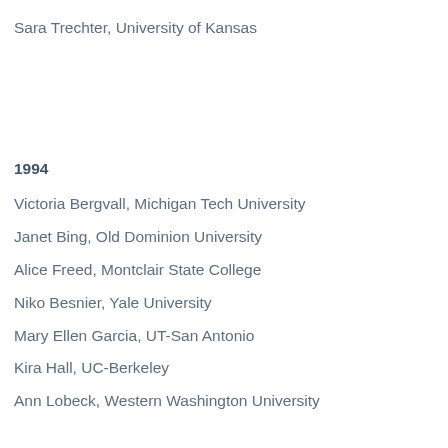Sara Trechter, University of Kansas
1994
Victoria Bergvall, Michigan Tech University
Janet Bing, Old Dominion University
Alice Freed, Montclair State College
Niko Besnier, Yale University
Mary Ellen Garcia, UT-San Antonio
Kira Hall, UC-Berkeley
Ann Lobeck, Western Washington University